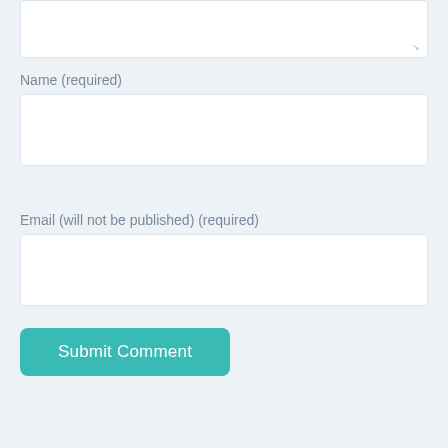Name (required)
Email (will not be published) (required)
Submit Comment